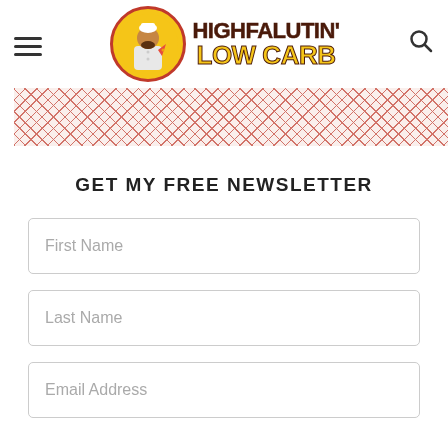[Figure (logo): Highfalutin' Low Carb website header logo with hamburger menu icon, chef mascot in yellow circle with brown/red text logo, and search icon]
[Figure (illustration): Decorative diagonal crosshatch pattern banner in red/pink tones]
GET MY FREE NEWSLETTER
First Name
Last Name
Email Address